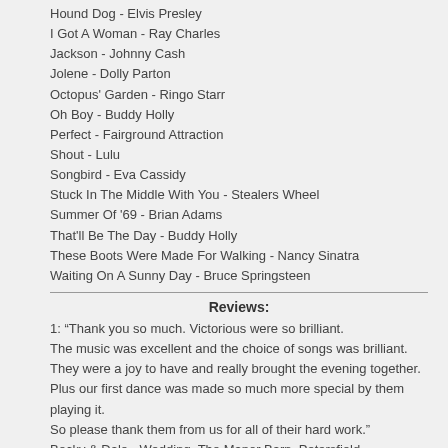Hound Dog - Elvis Presley
I Got A Woman - Ray Charles
Jackson - Johnny Cash
Jolene - Dolly Parton
Octopus' Garden - Ringo Starr
Oh Boy - Buddy Holly
Perfect - Fairground Attraction
Shout - Lulu
Songbird - Eva Cassidy
Stuck In The Middle With You - Stealers Wheel
Summer Of '69 - Brian Adams
That'll Be The Day - Buddy Holly
These Boots Were Made For Walking - Nancy Sinatra
Waiting On A Sunny Day - Bruce Springsteen
Reviews:
1: “Thank you so much. Victorious were so brilliant.
The music was excellent and the choice of songs was brilliant.
They were a joy to have and really brought the evening together.
Plus our first dance was made so much more special by them playing it.
So please thank them from us for all of their hard work.”
Becky & Dale - Wedding, The Manor Barn, Petersfield